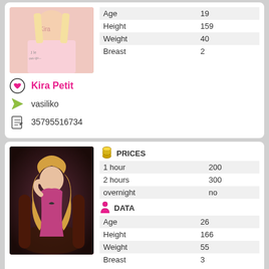[Figure (photo): Photo of Kira Petit - blonde woman in pink shirt]
|  |  |
| --- | --- |
| Age | 19 |
| Height | 159 |
| Weight | 40 |
| Breast | 2 |
Kira Petit
vasiliko
35795516734
[Figure (photo): Photo of Amelia - blonde woman in pink outfit seated in chair]
PRICES
|  |  |
| --- | --- |
| 1 hour | 200 |
| 2 hours | 300 |
| overnight | no |
DATA
|  |  |
| --- | --- |
| Age | 26 |
| Height | 166 |
| Weight | 55 |
| Breast | 3 |
Amelia
vasiliko